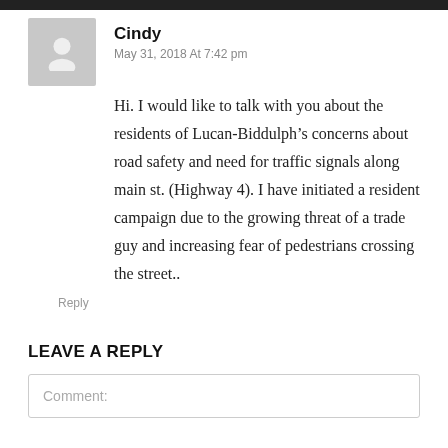Cindy
May 31, 2018 At 7:42 pm
Hi. I would like to talk with you about the residents of Lucan-Biddulph’s concerns about road safety and need for traffic signals along main st. (Highway 4). I have initiated a resident campaign due to the growing threat of a trade guy and increasing fear of pedestrians crossing the street..
Reply
LEAVE A REPLY
Comment: